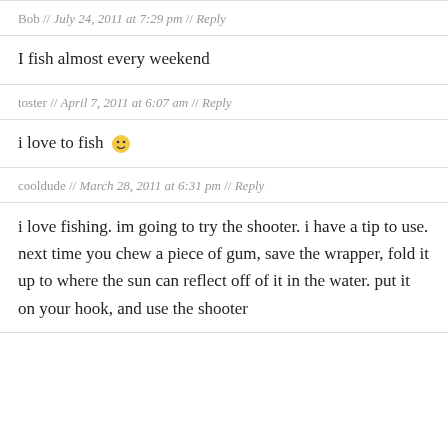Great tips the shooter works extremely well.
Bob // July 24, 2011 at 7:29 pm // Reply
I fish almost every weekend
toster // April 7, 2011 at 6:07 am // Reply
i love to fish 😀
cooldude // March 28, 2011 at 6:31 pm // Reply
i love fishing. im going to try the shooter. i have a tip to use. next time you chew a piece of gum, save the wrapper, fold it up to where the sun can reflect off of it in the water. put it on your hook, and use the shooter